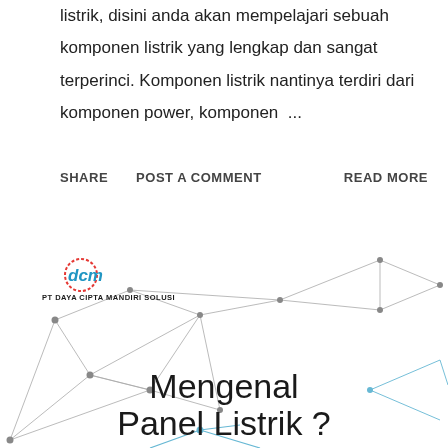listrik, disini anda akan mempelajari sebuah komponen listrik yang lengkap dan sangat terperinci. Komponen listrik nantinya terdiri dari komponen power, komponen ...
SHARE   POST A COMMENT   READ MORE
[Figure (illustration): Network graph illustration with nodes and lines forming a geometric mesh pattern. DCM logo (PT Daya Cipta Mandiri Solusi) in top left. Text 'Mengenal Panel Listrik ?' overlaid on the illustration.]